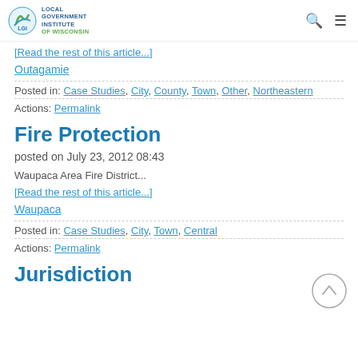Local Government Institute of Wisconsin
[Read the rest of this article...]
Outagamie
Posted in: Case Studies, City, County, Town, Other, Northeastern
Actions: Permalink
Fire Protection
posted on July 23, 2012 08:43
Waupaca Area Fire District...
[Read the rest of this article...]
Waupaca
Posted in: Case Studies, City, Town, Central
Actions: Permalink
Jurisdiction